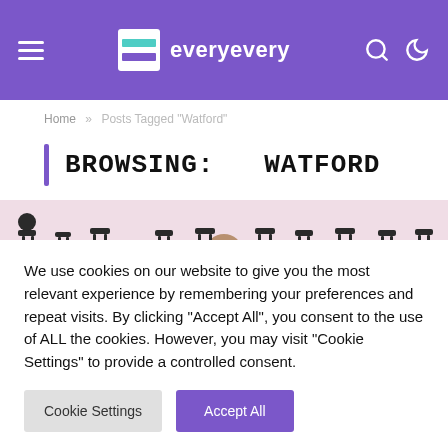everyevery
Home » Posts Tagged "Watford"
BROWSING:   WATFORD
[Figure (photo): A photo strip showing chair silhouettes with a person visible among them against a pink/light background]
We use cookies on our website to give you the most relevant experience by remembering your preferences and repeat visits. By clicking "Accept All", you consent to the use of ALL the cookies. However, you may visit "Cookie Settings" to provide a controlled consent.